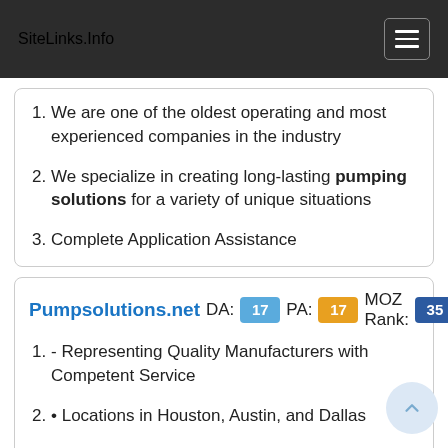SiteLinks.Info
We are one of the oldest operating and most experienced companies in the industry
We specialize in creating long-lasting pumping solutions for a variety of unique situations
Complete Application Assistance
Pumpsolutions.net   DA: 17   PA: 17   MOZ Rank: 35
- Representing Quality Manufacturers with Competent Service
• Locations in Houston, Austin, and Dallas
• Professional Knowledge & Advice for …